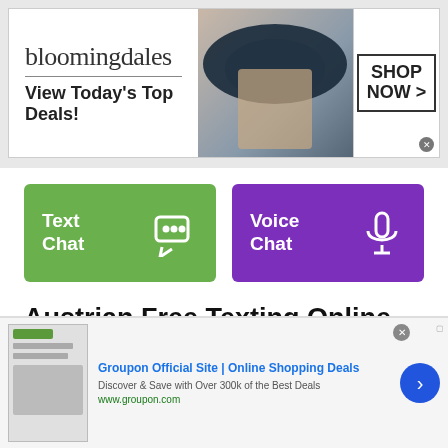[Figure (screenshot): Bloomingdales advertisement banner: logo, 'View Today's Top Deals!' tagline, model with hat, and 'SHOP NOW >' button]
[Figure (infographic): Two chat option buttons: green 'Text Chat' with speech bubble icon, and purple 'Voice Chat' with microphone icon]
Austrian Free Texting Online Chat Rooms
Austrian Chat Rooms is one of the most
[Figure (screenshot): Groupon advertisement: 'Groupon Official Site | Online Shopping Deals - Discover & Save with Over 300k of the Best Deals - www.groupon.com' with thumbnail image and right arrow button]